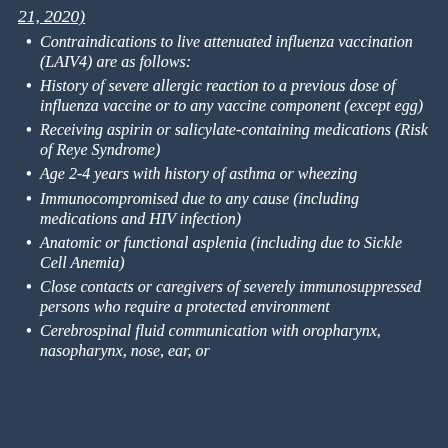21, 2020)
Contraindications to live attenuated influenza vaccination (LAIV4) are as follows:
History of severe allergic reaction to a previous dose of influenza vaccine or to any vaccine component (except egg)
Receiving aspirin or salicylate-containing medications (Risk of Reye Syndrome)
Age 2-4 years with history of asthma or wheezing
Immunocompromised due to any cause (including medications and HIV infection)
Anatomic or functional asplenia (including due to Sickle Cell Anemia)
Close contacts or caregivers of severely immunosuppressed persons who require a protected environment
Cerebrospinal fluid communication with oropharynx, nasopharynx, nose, ear, or ... CSF leak